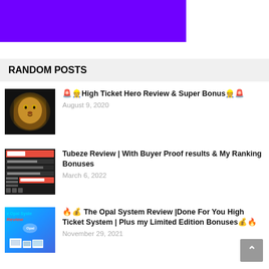[Figure (other): Purple/violet banner image at the top of the page]
RANDOM POSTS
[Figure (photo): Close-up photo of a lion's face]
🚨👷High Ticket Hero Review & Super Bonus👷🚨
August 9, 2020
[Figure (screenshot): Screenshot of Tubeze software interface showing NFT and ranking content]
Tubeze Review | With Buyer Proof results & My Ranking Bonuses
March 6, 2022
[Figure (photo): Opal System Review image showing devices on blue background with text]
🔥💰 The Opal System Review |Done For You High Ticket System | Plus my Limited Edition Bonuses💰🔥
November 29, 2021